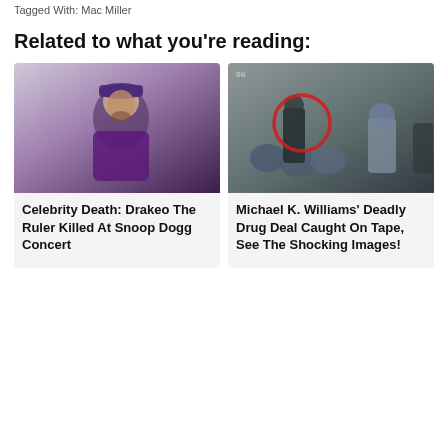Tagged With: Mac Miller
Related to what you're reading:
[Figure (photo): Portrait photo of Drakeo The Ruler wearing a purple hoodie and purple baseball cap]
Celebrity Death: Drakeo The Ruler Killed At Snoop Dogg Concert
[Figure (photo): CCTV surveillance footage showing people on a street with a red circle highlighting one person, related to Michael K. Williams drug deal]
Michael K. Williams' Deadly Drug Deal Caught On Tape, See The Shocking Images!